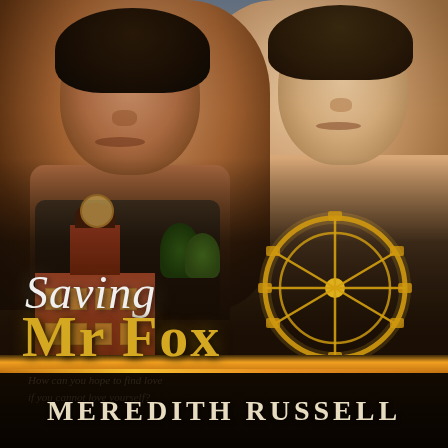[Figure (illustration): Book cover for 'Saving Mr Fox' by Meredith Russell. Shows two young men in close proximity against a dramatic sky background. The left figure has dark hair and wears a tank top; the right figure is lighter-skinned and shirtless. Below them is a composite background scene featuring a red brick building/clock tower on the left and a large golden Ferris wheel on the right. The title 'Saving Mr Fox' is displayed in the middle in mixed script and serif fonts, with the word 'Saving' in white italic script and 'Mr Fox' in bold golden letters. A tagline reads 'How can you hope to find love if you cannot love yourself?'. At the bottom, the author name 'Meredith Russell' appears in large spaced capital letters on a dark band.]